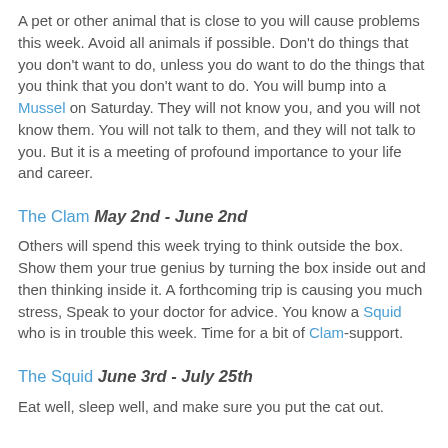A pet or other animal that is close to you will cause problems this week. Avoid all animals if possible. Don't do things that you don't want to do, unless you do want to do the things that you think that you don't want to do. You will bump into a Mussel on Saturday. They will not know you, and you will not know them. You will not talk to them, and they will not talk to you. But it is a meeting of profound importance to your life and career.
The Clam May 2nd - June 2nd
Others will spend this week trying to think outside the box. Show them your true genius by turning the box inside out and then thinking inside it. A forthcoming trip is causing you much stress, Speak to your doctor for advice. You know a Squid who is in trouble this week. Time for a bit of Clam-support.
The Squid June 3rd - July 25th
Eat well, sleep well, and make sure you put the cat out.